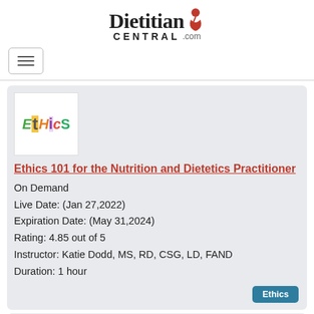[Figure (logo): DietitianCENTRAL.com logo with red person icon]
[Figure (other): Hamburger menu button icon]
[Figure (illustration): Ethics colorful word logo image thumbnail]
Ethics 101 for the Nutrition and Dietetics Practitioner
On Demand
Live Date: (Jan 27,2022)
Expiration Date: (May 31,2024)
Rating: 4.85 out of 5
Instructor: Katie Dodd, MS, RD, CSG, LD, FAND
Duration: 1 hour
[Figure (photo): Photo of a woman in business attire smiling]